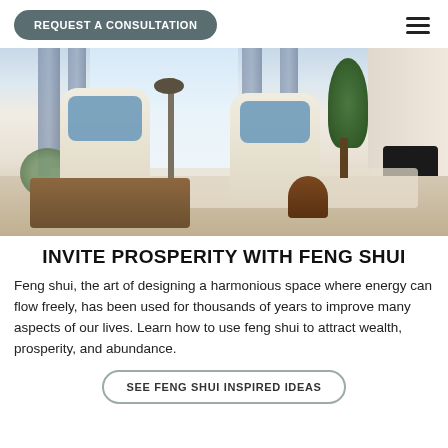REQUEST A CONSULTATION
[Figure (photo): Interior living room photo with two cream wingback chairs with blue pillows, a wooden coffee table, blue-grey curtains, a floor lamp, indoor plants, and a fireplace with logs on the right.]
INVITE PROSPERITY WITH FENG SHUI
Feng shui, the art of designing a harmonious space where energy can flow freely, has been used for thousands of years to improve many aspects of our lives. Learn how to use feng shui to attract wealth, prosperity, and abundance.
SEE FENG SHUI INSPIRED IDEAS